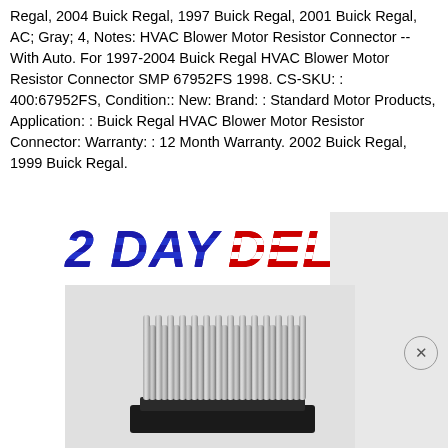Regal, 2004 Buick Regal, 1997 Buick Regal, 2001 Buick Regal, AC; Gray; 4, Notes: HVAC Blower Motor Resistor Connector -- With Auto. For 1997-2004 Buick Regal HVAC Blower Motor Resistor Connector SMP 67952FS 1998. CS-SKU: : 400:67952FS, Condition:: New: Brand: : Standard Motor Products, Application: : Buick Regal HVAC Blower Motor Resistor Connector: Warranty: : 12 Month Warranty. 2002 Buick Regal, 1999 Buick Regal.
[Figure (illustration): 2 DAY DELIVERY banner with blue and red patriotic styled text]
[Figure (photo): HVAC Blower Motor Resistor product photo showing a black base component with multiple silver metal pins/fins arranged in a row on top]